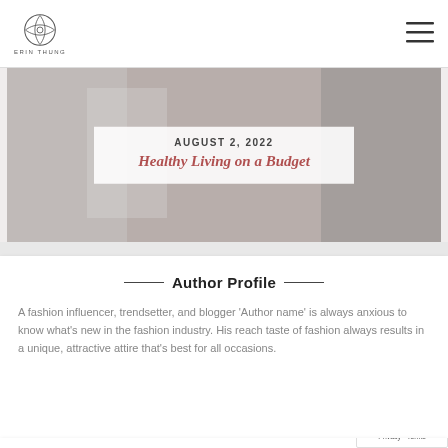ERIN THUNG - logo and navigation
[Figure (photo): Blog post card with light grey background, date AUGUST 2, 2022 and title Healthy Living on a Budget in rose italic text on white overlay]
AUGUST 2, 2022
Healthy Living on a Budget
Author Profile
A fashion influencer, trendsetter, and blogger ‘Author name’ is always anxious to know what’s new in the fashion industry. His reach taste of fashion always results in a unique, attractive attire that’s best for all occasions.
What’s New
[Figure (photo): Two women in a fashion boutique setting]